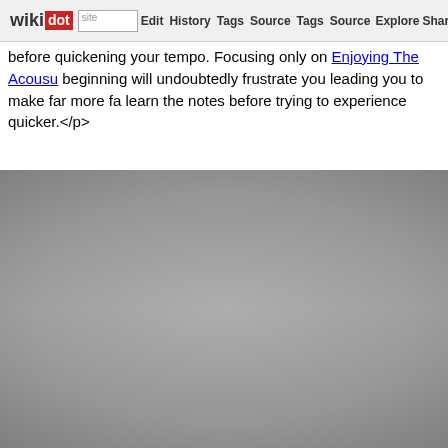wikidot | site | Edit | History | Tags | Source | Tags | Source | Explore | Share on
before quickening your tempo. Focusing only on Enjoying The Acousu beginning will undoubtedly frustrate you leading you to make far more fa learn the notes before trying to experience quicker.</p>
[Figure (photo): A large gray gradient rectangular image area, appearing as a placeholder or image with gray tones fading from darker at edges to lighter in center.]